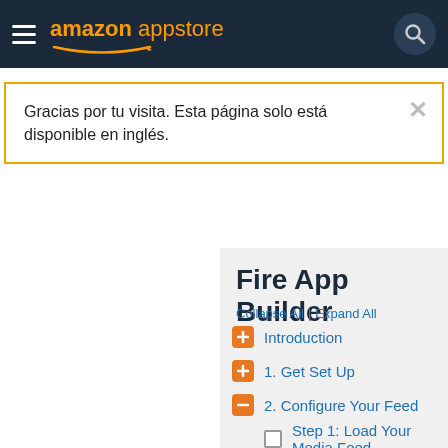[Figure (screenshot): Amazon Appstore navigation header with hamburger menu, logo, and search icon on dark navy background]
Gracias por tu visita. Esta página solo está disponible en inglés.
Fire App Builder
Collapse All | Expand All
Introduction
1. Get Set Up
2. Configure Your Feed
Step 1: Load Your Media Feed
Step 2: Recipe Configuration